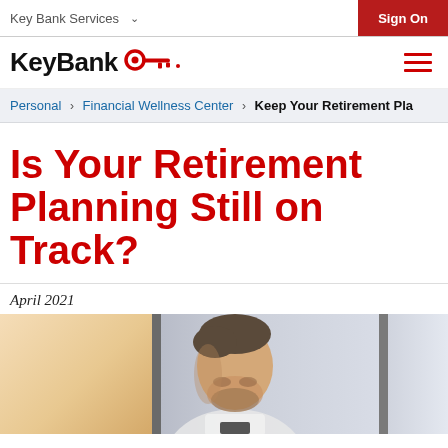Key Bank Services   Sign On
[Figure (logo): KeyBank logo with red key icon and wordmark, plus hamburger menu icon]
Personal > Financial Wellness Center > Keep Your Retirement Pla...
Is Your Retirement Planning Still on Track?
April 2021
[Figure (photo): Man with beard looking down, seated near large windows with natural light, blurred office/urban background]